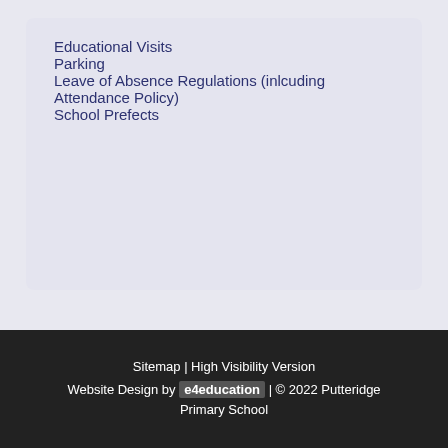Educational Visits
Parking
Leave of Absence Regulations (inlcuding Attendance Policy)
School Prefects
Sitemap | High Visibility Version
Website Design by e4education | © 2022 Putteridge Primary School